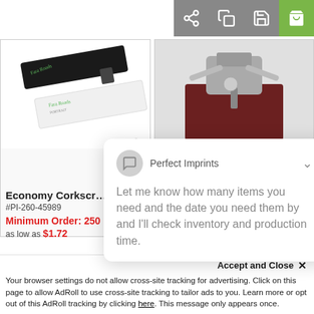[Figure (screenshot): Toolbar with share, copy, save, and cart (green) icon buttons]
[Figure (photo): Two custom USB flash drives (one black, one white) with 'Fara Roads' branding]
[Figure (photo): Corkscrew/wine opener promotional product on dark red background]
Economy Corkscr...
#PI-260-45989
Minimum Order: 250
as low as $1.72
#PI-205-1400-86-1000654
[Figure (screenshot): Chat popup from Perfect Imprints: Let me know how many items you need and the date you need them by and I'll check inventory and production time.]
Accept and Close ✕
Your browser settings do not allow cross-site tracking for advertising. Click on this page to allow AdRoll to use cross-site tracking to tailor ads to you. Learn more or opt out of this AdRoll tracking by clicking here. This message only appears once.